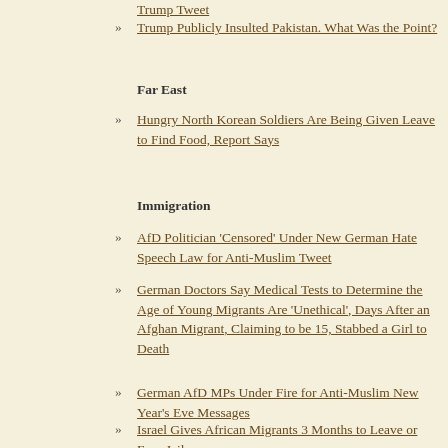Trump Tweet
Trump Publicly Insulted Pakistan. What Was the Point?
Far East
Hungry North Korean Soldiers Are Being Given Leave to Find Food, Report Says
Immigration
AfD Politician 'Censored' Under New German Hate Speech Law for Anti-Muslim Tweet
German Doctors Say Medical Tests to Determine the Age of Young Migrants Are 'Unethical', Days After an Afghan Migrant, Claiming to be 15, Stabbed a Girl to Death
German AfD MPs Under Fire for Anti-Muslim New Year's Eve Messages
Israel Gives African Migrants 3 Months to Leave or Face Jail
Men From “Syria or Afghanistan” Arrested in German New Year’s Eve Sex Attacks
Pope Francis: Opponents of Mass Migration Sow ‘Violence, Racial Discrimination and Xenophobia’
Steps to Prevent Illegal Migrants From Entering Israel 100% Effective in 2017